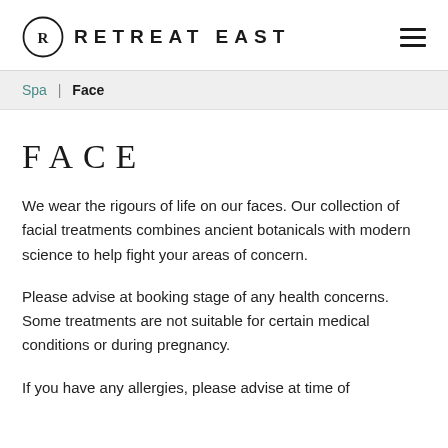RETREAT EAST
Spa | Face
FACE
We wear the rigours of life on our faces. Our collection of facial treatments combines ancient botanicals with modern science to help fight your areas of concern.
Please advise at booking stage of any health concerns. Some treatments are not suitable for certain medical conditions or during pregnancy.
If you have any allergies, please advise at time of